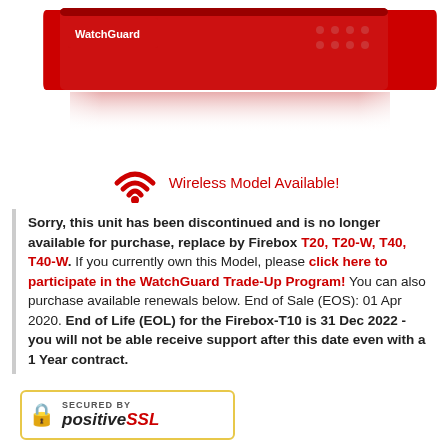[Figure (photo): WatchGuard Firebox T10 product image - red network appliance hardware device shown from front/top angle with reflection below]
[Figure (illustration): Red WiFi signal icon indicating wireless model available]
Wireless Model Available!
Sorry, this unit has been discontinued and is no longer available for purchase, replace by Firebox T20, T20-W, T40, T40-W. If you currently own this Model, please click here to participate in the WatchGuard Trade-Up Program! You can also purchase available renewals below. End of Sale (EOS): 01 Apr 2020. End of Life (EOL) for the Firebox-T10 is 31 Dec 2022 - you will not be able receive support after this date even with a 1 Year contract.
[Figure (logo): Secured by positiveSSL badge with padlock icon and gold border]